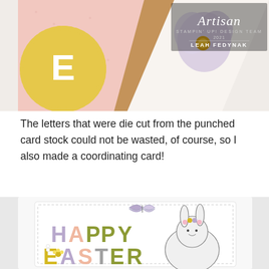[Figure (photo): Close-up photo of crafted card pieces: a yellow scalloped circle with white letter E, a pink polka dot background piece, a floral triangle piece with purple flower and gold glitter center, and a kraft card base. Top right corner shows 'Artisan' branding text with 'LEAH FEDYNAK'.]
The letters that were die cut from the punched card stock could not be wasted, of course, so I also made a coordinating card!
[Figure (photo): Photo of a Happy Easter card featuring colorful die-cut letters spelling 'HAPPY EASTER' in lavender, peach, olive green, yellow, and gray tones. A cute bunny illustration with flower crown sits on the right, and a purple butterfly floats above. The card has a white stitched border on white background.]